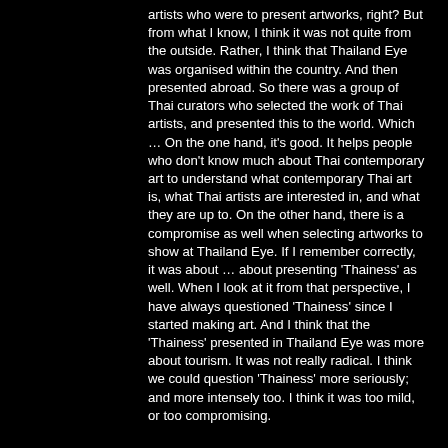artists who were to present artworks, right? But from what I know, I think it was not quite from the outside. Rather, I think that Thailand Eye was organised within the country. And then presented abroad. So there was a group of Thai curators who selected the work of Thai artists, and presented this to the world. Which … On the one hand, it's good. It helps people who don't know much about Thai contemporary art to understand what contemporary Thai art is, what Thai artists are interested in, and what they are up to. On the other hand, there is a compromise as well when selecting artworks to show at Thailand Eye. If I remember correctly, it was about … about presenting 'Thainess' as well. When I look at it from that perspective, I have always questioned 'Thainess' since I started making art. And I think that the 'Thainess' presented in Thailand Eye was more about tourism. It was not really radical. I think we could question 'Thainess' more seriously; and more intensely too. I think it was too mild, or too compromising.